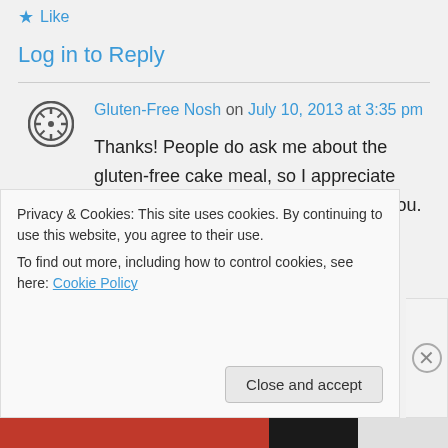★ Like
Log in to Reply
Gluten-Free Nosh on July 10, 2013 at 3:35 pm
Thanks! People do ask me about the gluten-free cake meal, so I appreciate your input. I'm glad it has worked for you.

If you have the recipes, I would love
Privacy & Cookies: This site uses cookies. By continuing to use this website, you agree to their use.
To find out more, including how to control cookies, see here: Cookie Policy
Close and accept